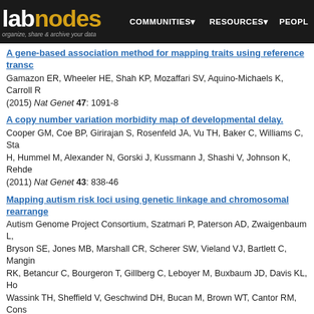labnodes | COMMUNITIES | RESOURCES | PEOPLE
A gene-based association method for mapping traits using reference transcriptome data
Gamazon ER, Wheeler HE, Shah KP, Mozaffari SV, Aquino-Michaels K, Carroll R... (2015) Nat Genet 47: 1091-8
A copy number variation morbidity map of developmental delay.
Cooper GM, Coe BP, Girirajan S, Rosenfeld JA, Vu TH, Baker C, Williams C, Sta... H, Hummel M, Alexander N, Gorski J, Kussmann J, Shashi V, Johnson K, Rehde... (2011) Nat Genet 43: 838-46
Mapping autism risk loci using genetic linkage and chromosomal rearrangements
Autism Genome Project Consortium, Szatmari P, Paterson AD, Zwaigenbaum L, Bryson SE, Jones MB, Marshall CR, Scherer SW, Vieland VJ, Bartlett C, Mangin... RK, Betancur C, Bourgeron T, Gillberg C, Leboyer M, Buxbaum JD, Davis KL, Ho... Wassink TH, Sheffield V, Geschwind DH, Bucan M, Brown WT, Cantor RM, Cons... S, Samango-Sprouse CA, Spence S, State M, Tanzi RE, Coon H, Dawson G, De... PM, Schellenberg GD, Smith M, Spence MA, Stodgell C, Tepper PG, Wijsman EM... Poustka F, Bölte S, Feineis-Matthews S, Herbrecht E, Schmötzer G, Tsiantis J, P... M, Kemner C, Koop F, Koop F, Langemeijer M, Langemeijer M, Hijmans C, Hijma... Pickles A, Le Couteur A, Berney T, McConachie H, Bailey AJ, Francis K, Honeym... I, Sykes N, Cook EH, Guter SJ, Leventhal BL, Salt J, Lord C, Corsello C, Hus V,... (2007) Nat Genet 39: 319-28
A second-generation screen of the human genome for susceptibility to insu...
Concannon P, Gogolin-Ewens KJ, Hinds DA, Wapelhorst B, Morrison VA, Stirling... (1998) Nat Genet 12: 266-...